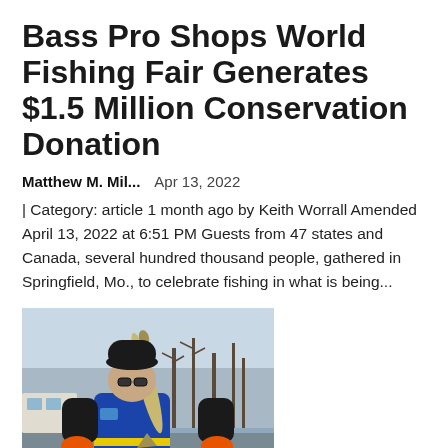Bass Pro Shops World Fishing Fair Generates $1.5 Million Conservation Donation
Matthew M. Mil...    Apr 13, 2022
| Category: article 1 month ago by Keith Worrall Amended April 13, 2022 at 6:51 PM Guests from 47 states and Canada, several hundred thousand people, gathered in Springfield, Mo., to celebrate fishing in what is being...
[Figure (photo): Person wearing a blue life vest and black jacket with orange gloves, holding a large fish (pike or similar), outdoors near water with bare trees in background.]
Kiwanis Walleye World Fishin...